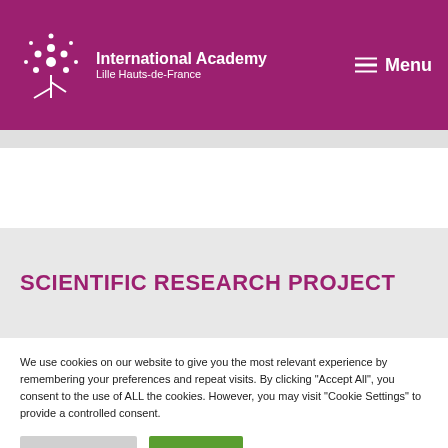International Academy Lille Hauts-de-France | Menu
SCIENTIFIC RESEARCH PROJECT
We use cookies on our website to give you the most relevant experience by remembering your preferences and repeat visits. By clicking "Accept All", you consent to the use of ALL the cookies. However, you may visit "Cookie Settings" to provide a controlled consent.